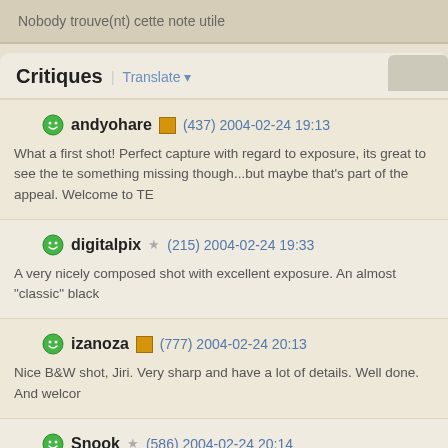Nobody trouve(nt) cette note utile
Critiques | Translate
andyohare (437) 2004-02-24 19:13
What a first shot! Perfect capture with regard to exposure, its great to see the te something missing though...but maybe that's part of the appeal. Welcome to TE
digitalpix (215) 2004-02-24 19:33
A very nicely composed shot with excellent exposure. An almost "classic" black
izanoza (777) 2004-02-24 20:13
Nice B&W shot, Jiri. Very sharp and have a lot of details. Well done. And welcor
Snook (586) 2004-02-24 20:14